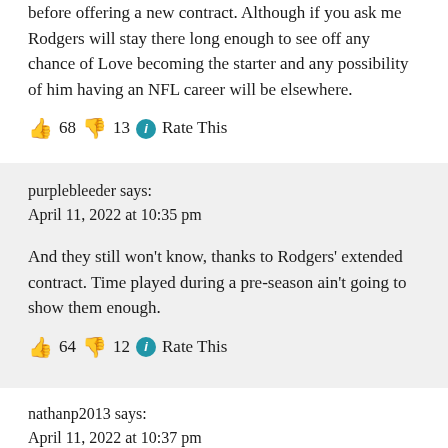before offering a new contract. Although if you ask me Rodgers will stay there long enough to see off any chance of Love becoming the starter and any possibility of him having an NFL career will be elsewhere.
👍 68 👎 13 ℹ Rate This
purplebleeder says:
April 11, 2022 at 10:35 pm
And they still won't know, thanks to Rodgers' extended contract. Time played during a pre-season ain't going to show them enough.
👍 64 👎 12 ℹ Rate This
nathanp2013 says:
April 11, 2022 at 10:37 pm
Rodgers is going to be around longer than Love's rookie contract… if GB want's to get anything in return the preseason